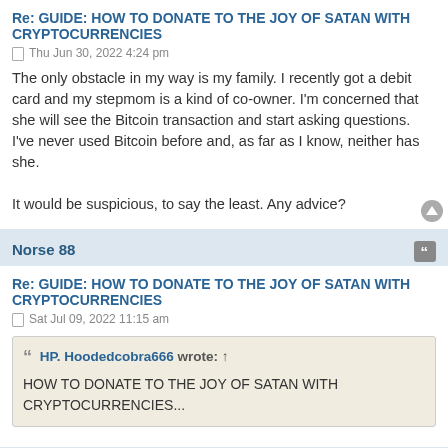Re: GUIDE: HOW TO DONATE TO THE JOY OF SATAN WITH CRYPTOCURRENCIES
Thu Jun 30, 2022 4:24 pm
The only obstacle in my way is my family. I recently got a debit card and my stepmom is a kind of co-owner. I'm concerned that she will see the Bitcoin transaction and start asking questions. I've never used Bitcoin before and, as far as I know, neither has she.

It would be suspicious, to say the least. Any advice?
Norse 88
Re: GUIDE: HOW TO DONATE TO THE JOY OF SATAN WITH CRYPTOCURRENCIES
Sat Jul 09, 2022 11:15 am
HP. Hoodedcobra666 wrote: ↑
HOW TO DONATE TO THE JOY OF SATAN WITH CRYPTOCURRENCIES...
This took me so many attempts, due to either various methods...